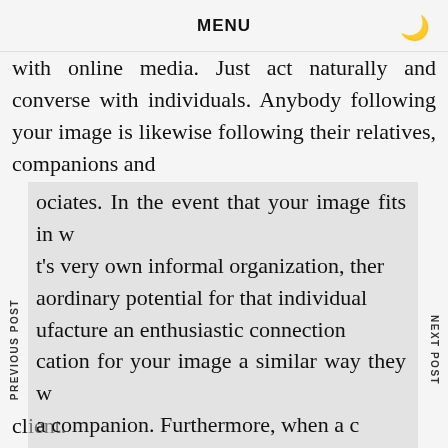MENU
with online media. Just act naturally and converse with individuals. Anybody following your image is likewise following their relatives, companions and associates. In the event that your image fits in with t's very own informal organization, then extraordinary potential for that individual to manufacture an enthusiastic connection and cation for your image a similar way they would a companion. Furthermore, when a considers you a companion, you have a dependable client.
While online media isn't the best spot for deals pitches, it very well may be utilized to raise brand